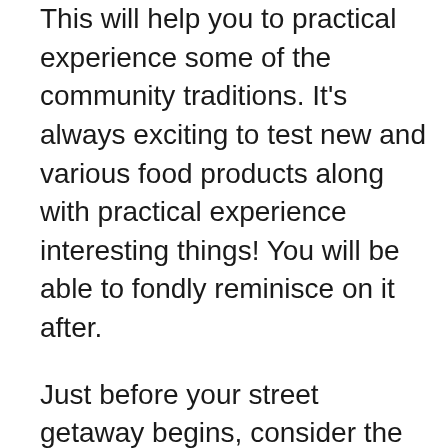This will help you to practical experience some of the community traditions. It's always exciting to test new and various food products along with practical experience interesting things! You will be able to fondly reminisce on it after.
Just before your street getaway begins, consider the amount of money gas costs during the period of your trips. Websites are offered that can help you discover the phone numbers according to which city you are leaving behind from, which town you will be arriving at and the particular auto that you generate. Acquiring a ballpark figure of the expense involved will allow you to steer clear of unanticipated fees making your holiday more fun.
As we explained before, travel can present you